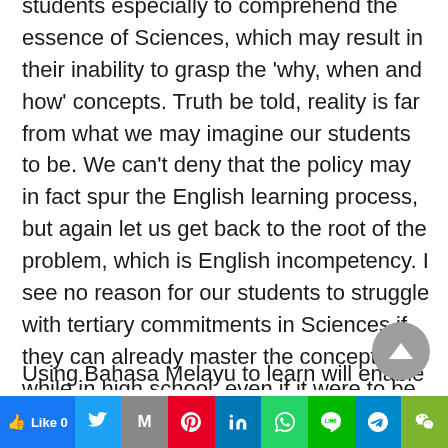students especially to comprehend the essence of Sciences, which may result in their inability to grasp the 'why, when and how' concepts. Truth be told, reality is far from what we may imagine our students to be. We can't deny that the policy may in fact spur the English learning process, but again let us get back to the root of the problem, which is English incompetency. I see no reason for our students to struggle with tertiary commitments in Sciences if they can already master the concepts while in high school, even if it were to be in Bahasa Melayu.
Using Bahasa Melayu to learn will enable almost
[Figure (other): Gray circular scroll-to-top button with upward-pointing triangle arrow]
[Figure (other): Social media sharing bar with Like, Twitter, Gmail, Pinterest, LinkedIn, WhatsApp, Line, Telegram, WeChat buttons]